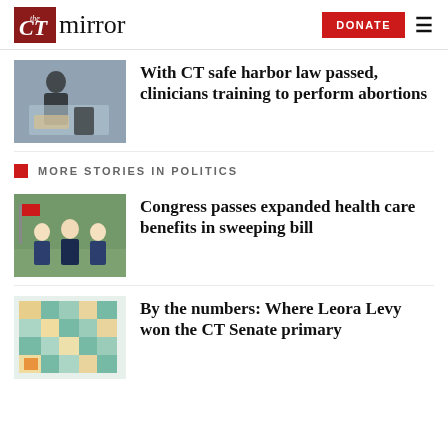the CT mirror | DONATE
[Figure (photo): Person in black clothing working at a table with medical supplies]
With CT safe harbor law passed, clinicians training to perform abortions
MORE STORIES IN POLITICS
[Figure (photo): Three men in suits standing outdoors at a press event]
Congress passes expanded health care benefits in sweeping bill
[Figure (map): Color map showing CT Senate primary results by area]
By the numbers: Where Leora Levy won the CT Senate primary